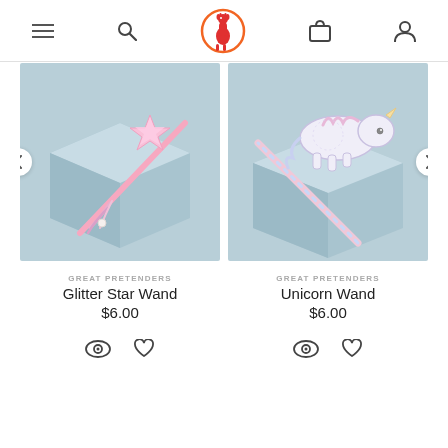Navigation bar with menu, search, logo, cart, and user icons
[Figure (photo): Pink glitter star wand with tulle ribbons on a light blue background]
GREAT PRETENDERS
Glitter Star Wand
$6.00
[Figure (photo): Glitter unicorn wand with pastel rainbow handle on a light blue background]
GREAT PRETENDERS
Unicorn Wand
$6.00